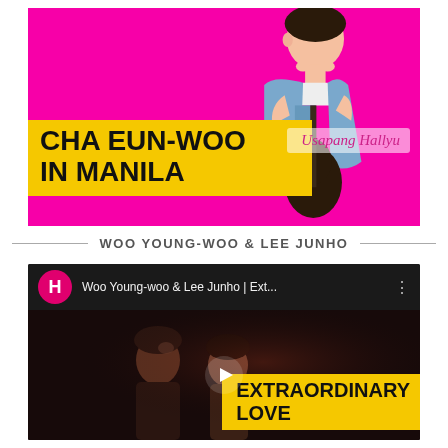[Figure (photo): Promotional image for Cha Eun-woo in Manila. Pink/magenta background with a young Asian male celebrity holding a guitar, wearing a denim jacket. Yellow overlay block with bold black text 'CHA EUN-WOO IN MANILA'. Script text 'Usapang Hallyu' on white brush stroke on right side.]
WOO YOUNG-WOO & LEE JUNHO
[Figure (screenshot): YouTube video thumbnail screenshot. Dark background. Video header shows Hallyu pink circle logo with H, title 'Woo Young-woo & Lee Junho | Ext...' and three-dot menu. Video content shows two people facing each other in low light. Yellow overlay text reads 'EXTRAORDINARY LOVE'. White play button triangle in center.]